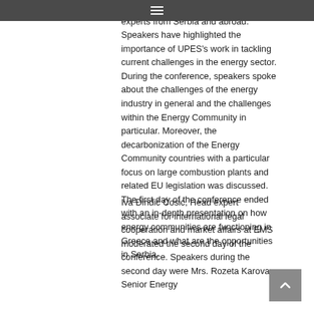and climate change provided by experts from Serbia and abroad. Speakers have highlighted the importance of UPES's work in tackling current challenges in the energy sector. During the conference, speakers spoke about the challenges of the energy industry in general and the challenges within the Energy Community in particular. Moreover, the decarbonization of the Energy Community countries with a particular focus on large combustion plants and related EU legislation was discussed. The first day of the conference ended with an in-depth presentation on how energy communities are functioning in Greece and what are the opportunities in Serbia.
Iva Đinđić Ćosić, Head expert associate for international legal cooperation and market affairs at EMS moderated the second day of the conference. Speakers during the second day were Mrs. Rozeta Karova, Senior Energy